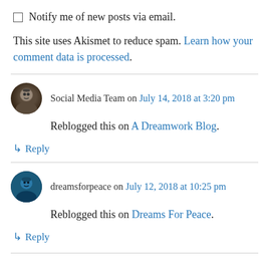Notify me of new posts via email.
This site uses Akismet to reduce spam. Learn how your comment data is processed.
Social Media Team on July 14, 2018 at 3:20 pm — Reblogged this on A Dreamwork Blog.
↳ Reply
dreamsforpeace on July 12, 2018 at 10:25 pm — Reblogged this on Dreams For Peace.
↳ Reply